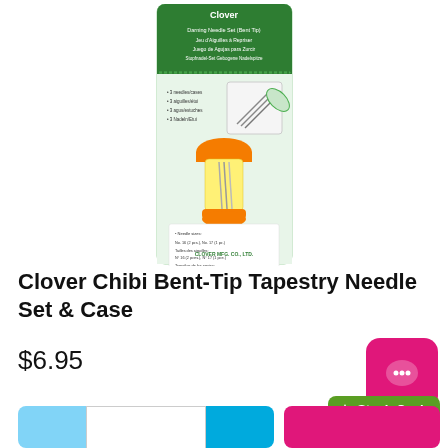[Figure (photo): Product photo of Clover Chibi Bent-Tip Tapestry Needle Set and Case in green blister packaging with orange needle case and needles visible]
Clover Chibi Bent-Tip Tapestry Needle Set & Case
$6.95